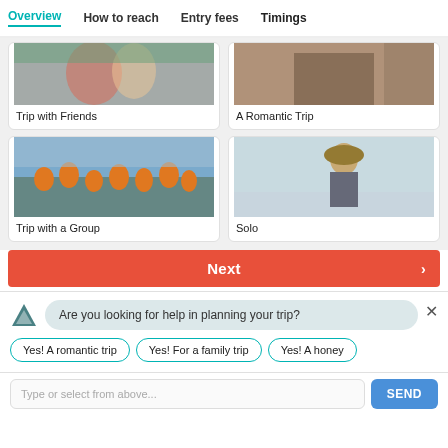Overview | How to reach | Entry fees | Timings
[Figure (screenshot): Card showing partial photo of people - Trip with Friends]
Trip with Friends
[Figure (screenshot): Card showing partial photo - A Romantic Trip]
A Romantic Trip
[Figure (photo): Group of people in orange vests outdoors - Trip with a Group]
Trip with a Group
[Figure (photo): Woman with hat outdoors - Solo]
Solo
Next >
Are you looking for help in planning your trip?
Yes! A romantic trip
Yes! For a family trip
Yes! A honey
Type or select from above...
SEND